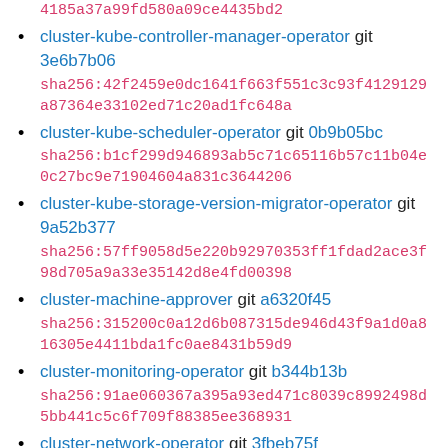4185a37a99fd580a09ce4435bd2
cluster-kube-controller-manager-operator git 3e6b7b06
sha256:42f2459e0dc1641f663f551c3c93f4129129a87364e33102ed71c20ad1fc648a
cluster-kube-scheduler-operator git 0b9b05bc
sha256:b1cf299d946893ab5c71c65116b57c11b04e0c27bc9e71904604a831c3644206
cluster-kube-storage-version-migrator-operator git 9a52b377
sha256:57ff9058d5e220b92970353ff1fdad2ace3f98d705a9a33e35142d8e4fd00398
cluster-machine-approver git a6320f45
sha256:315200c0a12d6b087315de946d43f9a1d0a816305e4411bda1fc0ae8431b59d9
cluster-monitoring-operator git b344b13b
sha256:91ae060367a395a93ed471c8039c8992498d5bb441c5c6f709f88385ee368931
cluster-network-operator git 3fbeb75f